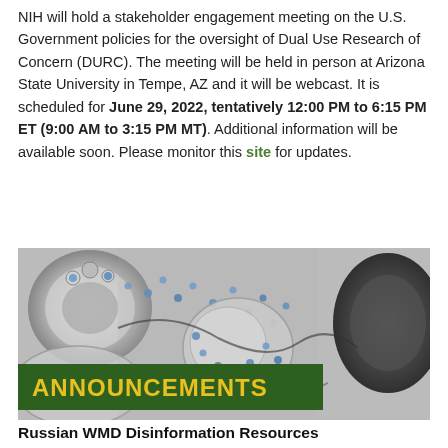NIH will hold a stakeholder engagement meeting on the U.S. Government policies for the oversight of Dual Use Research of Concern (DURC). The meeting will be held in person at Arizona State University in Tempe, AZ and it will be webcast. It is scheduled for June 29, 2022, tentatively 12:00 PM to 6:15 PM ET (9:00 AM to 3:15 PM MT). Additional information will be available soon. Please monitor this site for updates.
[Figure (photo): Electron microscopy image of monkeypox virus particles (colored blue) among cellular structures, in black and white with blue highlights. An 'ANNOUNCEMENTS' banner in yellow text on dark green background overlays the bottom-left of the image.]
Russian WMD Disinformation Resources